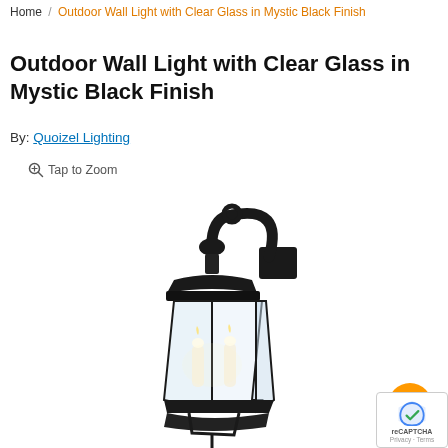Home / Outdoor Wall Light with Clear Glass in Mystic Black Finish
Outdoor Wall Light with Clear Glass in Mystic Black Finish
By: Quoizel Lighting
Tap to Zoom
[Figure (photo): Outdoor wall lantern light fixture with clear beveled glass panels, decorative curved arm mount, and mystic black finish. Shows two candelabra bulbs inside the glass enclosure.]